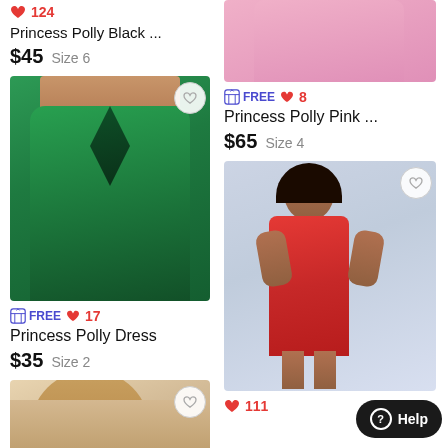[Figure (photo): Product listing: Princess Polly Black dress, heart count 124, price $45, Size 6]
❤ 124
Princess Polly Black ...
$45  Size 6
[Figure (photo): Product listing: Green satin strapless mini dress, with heart save button]
FREE ❤ 17
Princess Polly Dress
$35  Size 2
[Figure (photo): Bottom-left product listing showing blonde model, partial view]
[Figure (photo): Product listing top: pink dress, partial view, with FREE tag and heart count 8]
FREE ❤ 8
Princess Polly Pink ...
$65  Size 4
[Figure (photo): Product listing: Red mini dress on model, with heart save button]
❤ 111